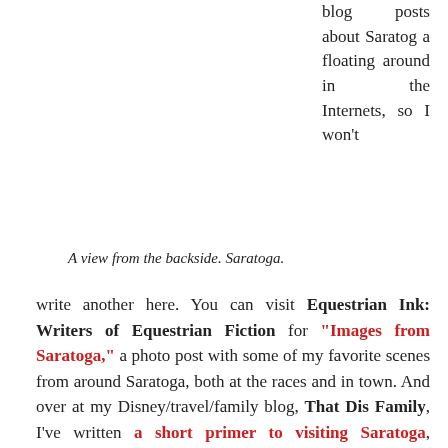blog posts about Saratoga floating around in the Internets, so I won't
A view from the backside. Saratoga.
write another here. You can visit Equestrian Ink: Writers of Equestrian Fiction for "Images from Saratoga," a photo post with some of my favorite scenes from around Saratoga, both at the races and in town. And over at my Disney/travel/family blog, That Dis Family, I've written a short primer to visiting Saratoga, whether you're horsey or not.